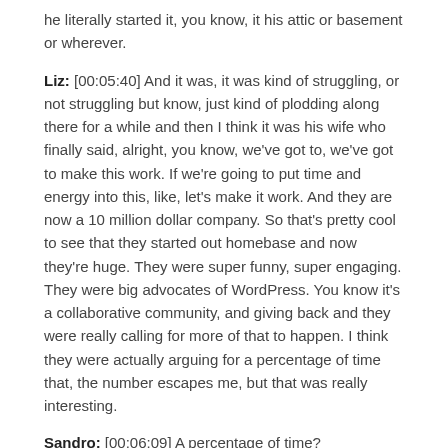he literally started it, you know, it his attic or basement or wherever.
Liz: [00:05:40] And it was, it was kind of struggling, or not struggling but know, just kind of plodding along there for a while and then I think it was his wife who finally said, alright, you know, we've got to, we've got to make this work. If we're going to put time and energy into this, like, let's make it work. And they are now a 10 million dollar company. So that's pretty cool to see that they started out homebase and now they're huge. They were super funny, super engaging. They were big advocates of WordPress. You know it's a collaborative community, and giving back and they were really calling for more of that to happen. I think they were actually arguing for a percentage of time that, the number escapes me, but that was really interesting.
Sandro: [00:06:09] A percentage of time?